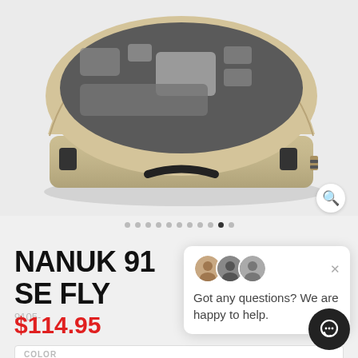[Figure (photo): A tan/beige hard-shell carry case (Nanuk 915) open, showing foam-padded interior with drone components including what appears to be a DJI Mini drone, controller, batteries, and accessories. The case has black latches and handle.]
NANUK 915 FOR DJI MINI SE FLY MORE
9105-...
$114.95
Got any questions? We are happy to help.
COLOR